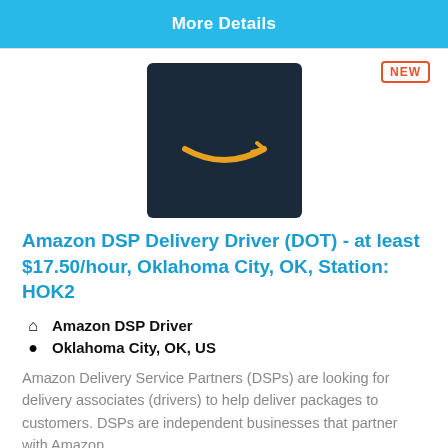More Details
[Figure (logo): Amazon logo: dark navy square with the Amazon smile/arrow in orange]
Amazon DSP Delivery Driver (DOT) - at least $17.50/hour, Oklahoma City, OK, Station: HOK2
Amazon DSP Driver
Oklahoma City, OK, US
Amazon Delivery Service Partners (DSPs) are looking for delivery associates (drivers) to help deliver packages to customers. DSPs are independent businesses that partner with Amazon